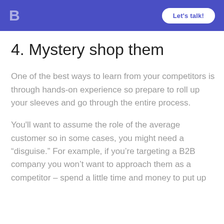B  Let's talk!
4. Mystery shop them
One of the best ways to learn from your competitors is through hands-on experience so prepare to roll up your sleeves and go through the entire process.
You'll want to assume the role of the average customer so in some cases, you might need a “disguise.” For example, if you’re targeting a B2B company you won’t want to approach them as a competitor – spend a little time and money to put up